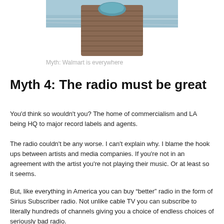[Figure (photo): Partial photo showing what appears to be a wicker or rattan object with a teal/blue element against a water and road background.]
Myth: Walmart is everywhere
Myth 4: The radio must be great
You'd think so wouldn't you? The home of commercialism and LA being HQ to major record labels and agents.
The radio couldn't be any worse. I can't explain why. I blame the hook ups between artists and media companies. If you're not in an agreement with the artist you're not playing their music. Or at least so it seems.
But, like everything in America you can buy “better” radio in the form of Sirius Subscriber radio. Not unlike cable TV you can subscribe to literally hundreds of channels giving you a choice of endless choices of seriously bad radio.
Thankfully we stream Australian radio and listen to that at home. But I have to say it is a bit of a spin out when you hear traffic and weather.